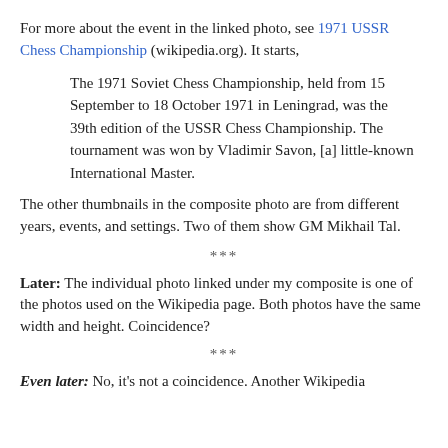For more about the event in the linked photo, see 1971 USSR Chess Championship (wikipedia.org). It starts,
The 1971 Soviet Chess Championship, held from 15 September to 18 October 1971 in Leningrad, was the 39th edition of the USSR Chess Championship. The tournament was won by Vladimir Savon, [a] little-known International Master.
The other thumbnails in the composite photo are from different years, events, and settings. Two of them show GM Mikhail Tal.
***
Later: The individual photo linked under my composite is one of the photos used on the Wikipedia page. Both photos have the same width and height. Coincidence?
***
Even later: No, it's not a coincidence. Another Wikipedia...